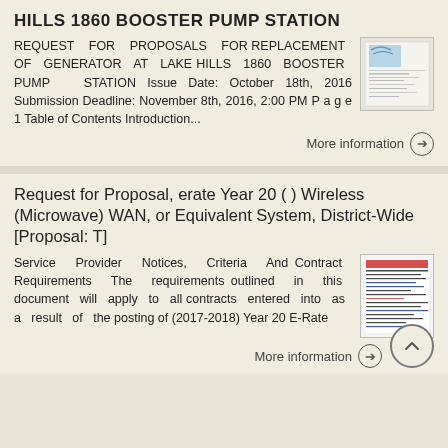HILLS 1860 BOOSTER PUMP STATION
REQUEST FOR PROPOSALS FOR REPLACEMENT OF GENERATOR AT LAKE HILLS 1860 BOOSTER PUMP STATION Issue Date: October 18th, 2016 Submission Deadline: November 8th, 2016, 2:00 PM P a g e 1 Table of Contents Introduction...
[Figure (screenshot): Thumbnail image of a document cover page for Lake Hills 1860 Booster Pump Station RFP]
More information →
Request for Proposal, erate Year 20 ( ) Wireless (Microwave) WAN, or Equivalent System, District-Wide [Proposal: T]
Service Provider Notices, Criteria And Contract Requirements The requirements outlined in this document will apply to all contracts entered into as a result of the posting of (2017-2018) Year 20 E-Rate
[Figure (screenshot): Thumbnail image of a document with red and blue text sections for E-Rate proposal]
More information →